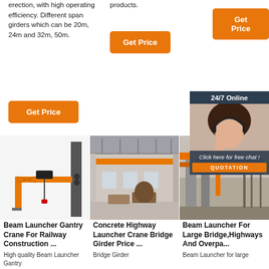erection, with high operating efficiency. Different span girders which can be 20m, 24m and 32m, 50m.
products.
[Figure (other): Get Price button - orange rounded rectangle]
[Figure (other): Get Price button - orange rounded rectangle (column 2)]
[Figure (other): Get Price button - orange rounded rectangle (column 3)]
[Figure (other): 24/7 Online support widget with woman wearing headset]
[Figure (photo): Beam Launcher Gantry Crane illustration - yellow crane on rail]
[Figure (photo): Inside warehouse with yellow overhead crane]
[Figure (photo): Construction site with orange crane structure]
Beam Launcher Gantry Crane For Railway Construction ...
High quality Beam Launcher Gantry
Concrete Highway Launcher Crane Bridge Girder Price ...
Bridge Girder
Beam Launcher For Large Bridge,Highways And Overpa...
Beam Launcher for large